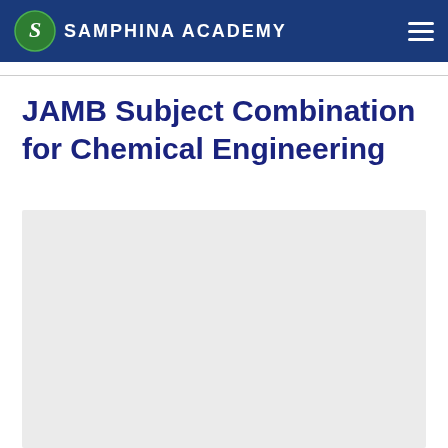SAMPHINA ACADEMY
JAMB Subject Combination for Chemical Engineering
[Figure (other): Light grey placeholder content box below the title]